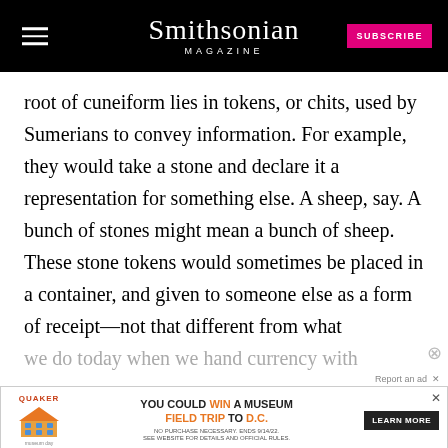Smithsonian MAGAZINE | SUBSCRIBE
root of cuneiform lies in tokens, or chits, used by Sumerians to convey information. For example, they would take a stone and declare it a representation for something else. A sheep, say. A bunch of stones might mean a bunch of sheep. These stone tokens would sometimes be placed in a container, and given to someone else as a form of receipt—not that different from what we do today when we hand currency with
[Figure (other): Quaker Museum Day advertisement banner: 'YOU COULD WIN A MUSEUM FIELD TRIP TO D.C. LEARN MORE']
numbers on it to confirm the transaction